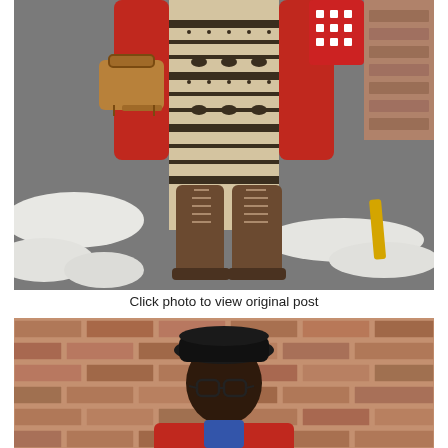[Figure (photo): Fashion photo showing lower half of person wearing patterned Nordic/fair-isle leggings with reindeer and snowflake motifs, brown lace-up combat boots, a red coat, carrying a tan/caramel structured handbag, standing on a snowy asphalt surface with a brick wall in the background.]
Click photo to view original post
[Figure (photo): Fashion photo showing a person from shoulders up wearing a black fedora hat, round glasses, and a red jacket/coat, standing in front of a brick wall.]